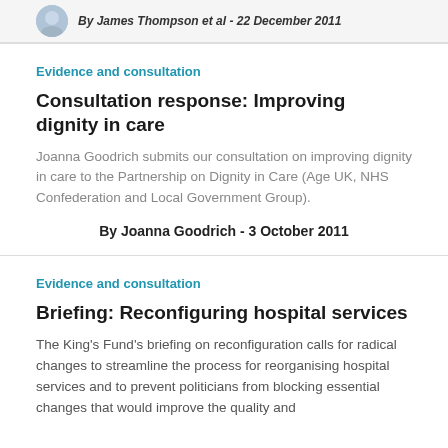By James Thompson et al - 22 December 2011
Evidence and consultation
Consultation response: Improving dignity in care
Joanna Goodrich submits our consultation on improving dignity in care to the Partnership on Dignity in Care (Age UK, NHS Confederation and Local Government Group).
By Joanna Goodrich - 3 October 2011
Evidence and consultation
Briefing: Reconfiguring hospital services
The King's Fund's briefing on reconfiguration calls for radical changes to streamline the process for reorganising hospital services and to prevent politicians from blocking essential changes that would improve the quality and